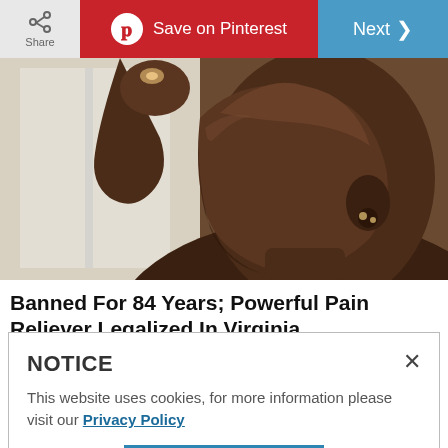[Figure (screenshot): Top navigation bar with Share button, Save on Pinterest button (red), and Next button (blue)]
[Figure (photo): Close-up photo of a woman tilting her head back, profile view, dark skin, wearing earrings]
Banned For 84 Years; Powerful Pain Reliever Legalized In Virginia
Health Headlines | Sponsored
NOTICE
This website uses cookies, for more information please visit our Privacy Policy
OK